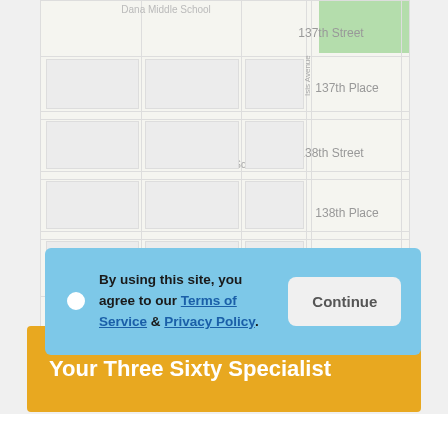[Figure (map): Street map showing Dana Middle School, Burnett School, Isis Avenue, 137th Street, 137th Place, 138th Street, 138th Place]
By using this site, you agree to our Terms of Service & Privacy Policy.
Your Three Sixty Specialist